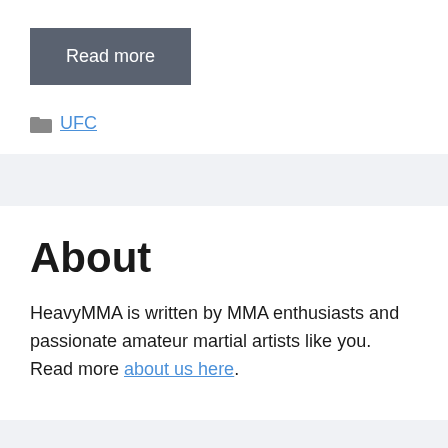Read more
UFC
About
HeavyMMA is written by MMA enthusiasts and passionate amateur martial artists like you. Read more about us here.